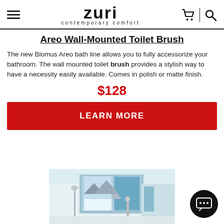Zuri contemporary comfort — navigation header
Areo Wall-Mounted Toilet Brush
The new Blomus Areo bath line allows you to fully accessorize your bathroom. The wall mounted toilet brush provides a stylish way to have a necessity easily available. Comes in polish or matte finish.
$128
LEARN MORE
[Figure (photo): Bathroom interior with a wall-mounted shower, a window view of mountains, and modern fixtures]